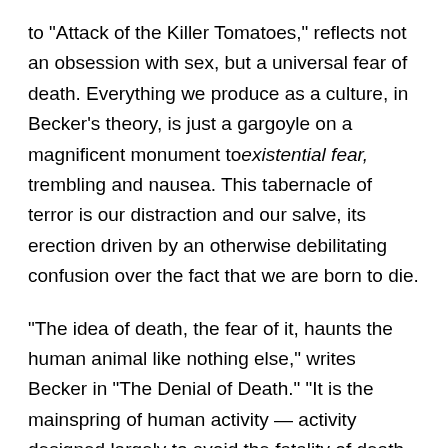to "Attack of the Killer Tomatoes," reflects not an obsession with sex, but a universal fear of death. Everything we produce as a culture, in Becker's theory, is just a gargoyle on a magnificent monument to existential fear, trembling and nausea. This tabernacle of terror is our distraction and our salve, its erection driven by an otherwise debilitating confusion over the fact that we are born to die.
“The idea of death, the fear of it, haunts the human animal like nothing else,” writes Becker in "The Denial of Death." “It is the mainspring of human activity — activity designed largely to avoid the fatality of death, to overcome it by denying in some way that it is the final destiny of man.”